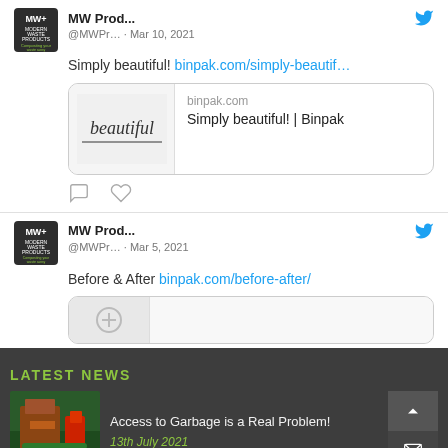[Figure (screenshot): Tweet from MW Products account dated Mar 10, 2021. Text: Simply beautiful! binpak.com/simply-beautif… with a link card showing binpak.com / Simply beautiful! | Binpak, and a cursive 'beautiful' image. Reply and like icons below.]
[Figure (screenshot): Tweet from MW Products account (@MWPr...) dated Mar 5, 2021. Text: Before & After binpak.com/before-after/ with a partially visible link card below.]
LATEST NEWS
[Figure (photo): Photo of garbage/trash in a green dumpster with cardboard and red items visible.]
Access to Garbage is a Real Problem!
13th July 2021